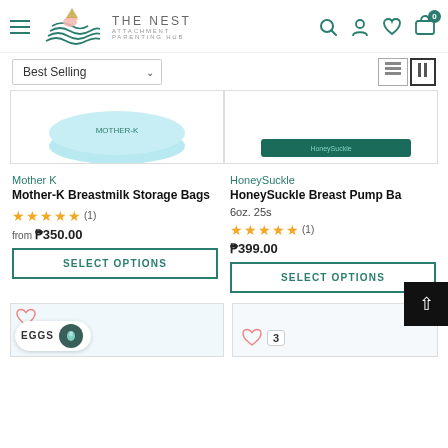THE NEST ATTACHMENT PARENTING HUB
Best Selling
[Figure (screenshot): Partial product image of Mother-K breastmilk storage bags (light blue/teal product)]
[Figure (screenshot): Partial product image of HoneySuckle Breast Pump Bag (dark teal/green product)]
Mother K
HoneySuckle
Mother-K Breastmilk Storage Bags
HoneySuckle Breast Pump Ba… 6oz. 25s
★★★★★ (1)  from ₱350.00
★★★★★ (1)  ₱399.00
SELECT OPTIONS
SELECT OPTIONS
[Figure (screenshot): Bottom partial product card with EGGS overlay button and a circular icon]
[Figure (screenshot): Bottom partial product card with heart icon and badge showing number 3]